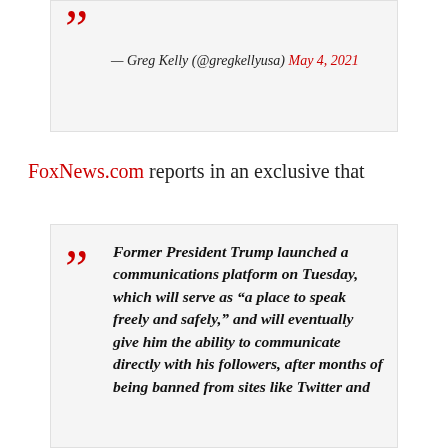— Greg Kelly (@gregkellyusa) May 4, 2021
FoxNews.com reports in an exclusive that
Former President Trump launched a communications platform on Tuesday, which will serve as “a place to speak freely and safely,” and will eventually give him the ability to communicate directly with his followers, after months of being banned from sites like Twitter and